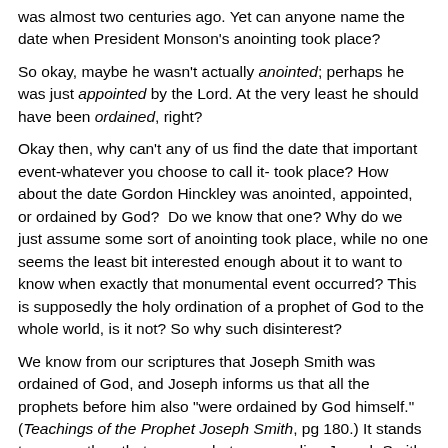was almost two centuries ago. Yet can anyone name the date when President Monson's anointing took place?
So okay, maybe he wasn't actually anointed; perhaps he was just appointed by the Lord. At the very least he should have been ordained, right?
Okay then, why can't any of us find the date that important event-whatever you choose to call it- took place? How about the date Gordon Hinckley was anointed, appointed, or ordained by God?  Do we know that one? Why do we just assume some sort of anointing took place, while no one seems the least bit interested enough about it to want to know when exactly that monumental event occurred? This is supposedly the holy ordination of a prophet of God to the whole world, is it not? So why such disinterest?
We know from our scriptures that Joseph Smith was ordained of God, and Joseph informs us that all the prophets before him also "were ordained by God himself." (Teachings of the Prophet Joseph Smith, pg 180.) It stands to reason then that any prophets succeeding Joseph Smith and claiming to have inherited Joseph's mantle would also have